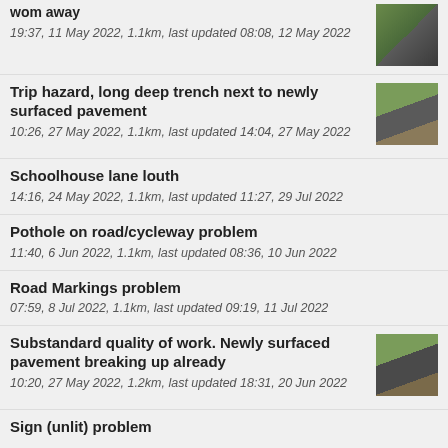wom away
19:37, 11 May 2022, 1.1km, last updated 08:08, 12 May 2022
Trip hazard, long deep trench next to newly surfaced pavement
10:26, 27 May 2022, 1.1km, last updated 14:04, 27 May 2022
Schoolhouse lane louth
14:16, 24 May 2022, 1.1km, last updated 11:27, 29 Jul 2022
Pothole on road/cycleway problem
11:40, 6 Jun 2022, 1.1km, last updated 08:36, 10 Jun 2022
Road Markings problem
07:59, 8 Jul 2022, 1.1km, last updated 09:19, 11 Jul 2022
Substandard quality of work. Newly surfaced pavement breaking up already
10:20, 27 May 2022, 1.2km, last updated 18:31, 20 Jun 2022
Sign (unlit) problem